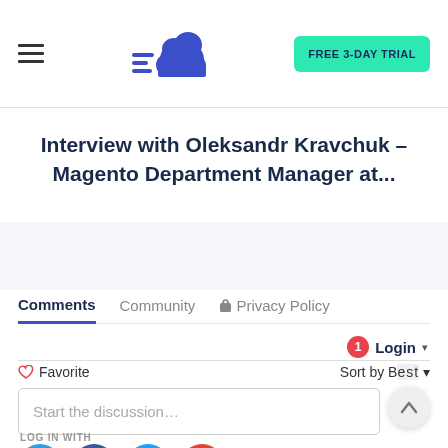Interview with Oleksandr Kravchuk – Magento Department Manager at...
Interview with Oleksandr Kravchuk – Magento Department Manager at...
Comments
Community
Privacy Policy
Login
Favorite
Sort by Best
Start the discussion...
LOG IN WITH